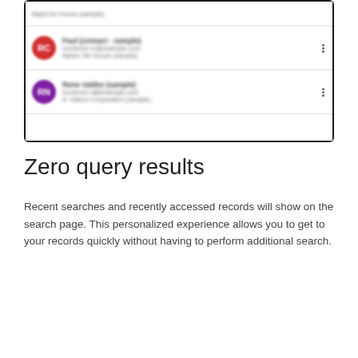[Figure (screenshot): Mobile app screenshot showing a list of contact records with avatar icons, blurred names, email addresses, and company names, with a vertical three-dot menu on the right side of each row.]
Zero query results
Recent searches and recently accessed records will show on the search page. This personalized experience allows you to get to your records quickly without having to perform additional search.